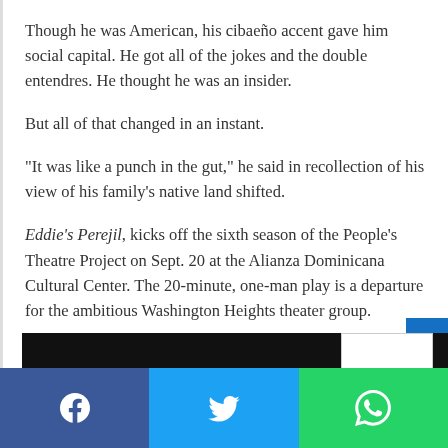Though he was American, his cibaeño accent gave him social capital. He got all of the jokes and the double entendres. He thought he was an insider.
But all of that changed in an instant.
“It was like a punch in the gut,” he said in recollection of his view of his family’s native land shifted.
Eddie’s Perejil, kicks off the sixth season of the People’s Theatre Project on Sept. 20 at the Alianza Dominicana Cultural Center. The 20-minute, one-man play is a departure for the ambitious Washington Heights theater group.
[Figure (photo): Partial view of an image strip at the bottom of the article, dark background with a small white inset image partially visible.]
Social share bar with Facebook, Twitter, and WhatsApp buttons